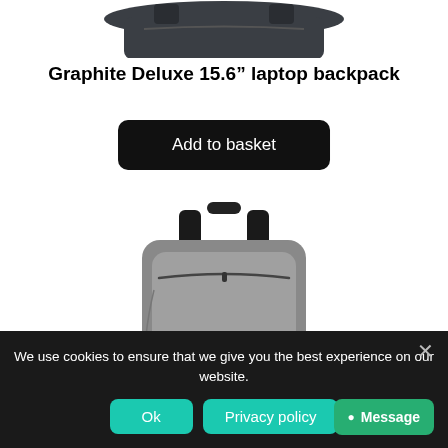[Figure (photo): Top portion of a dark graphite laptop backpack, showing the top/handle portion against white background]
Graphite Deluxe 15.6" laptop backpack
Add to basket
[Figure (photo): Gray laptop backpack from the front, showing zipper, straps, and top handle against white background]
We use cookies to ensure that we give you the best experience on our website.
Ok
Privacy policy
Message